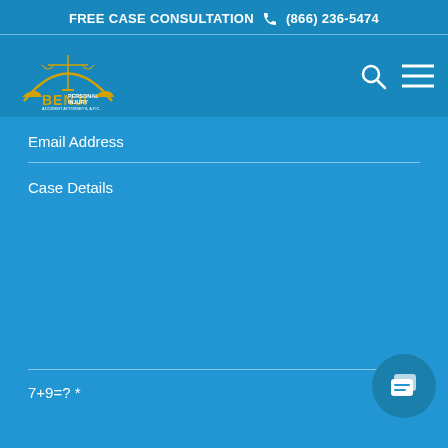FREE CASE CONSULTATION  (866) 236-5474
[Figure (logo): Benji Personal Injury Accident Attorneys, APC logo with scales of justice and car imagery in gold and white on blue background]
Email Address
Case Details
7+9=? *
[Figure (illustration): Chat/message bubble icon button in bottom right corner]